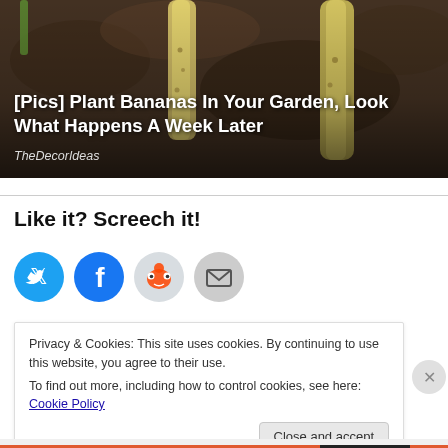[Figure (photo): Photo of banana plants or yellowish sprouting shoots growing out of dark soil/dirt, viewed from above]
[Pics] Plant Bananas In Your Garden, Look What Happens A Week Later
TheDecorIdeas
Like it? Screech it!
[Figure (other): Social sharing buttons: Twitter (blue circle), Facebook (blue circle), Reddit (light gray circle), Email (gray circle)]
Privacy & Cookies: This site uses cookies. By continuing to use this website, you agree to their use.
To find out more, including how to control cookies, see here: Cookie Policy
Close and accept